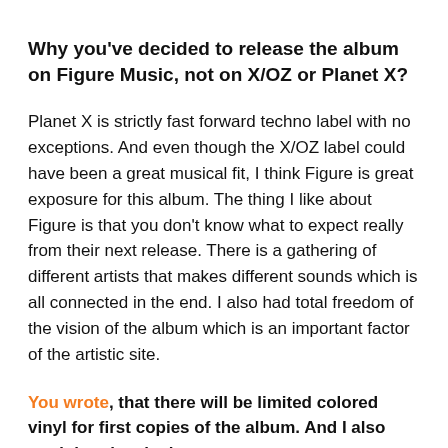Why you've decided to release the album on Figure Music, not on X/OZ or Planet X?
Planet X is strictly fast forward techno label with no exceptions. And even though the X/OZ label could have been a great musical fit, I think Figure is great exposure for this album. The thing I like about Figure is that you don't know what to expect really from their next release. There is a gathering of different artists that makes different sounds which is all connected in the end. I also had total freedom of the vision of the album which is an important factor of the artistic site.
You wrote, that there will be limited colored vinyl for first copies of the album. And I also read that the vinyl